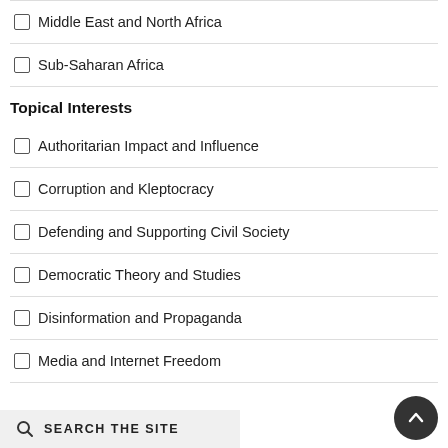Middle East and North Africa
Sub-Saharan Africa
Topical Interests
Authoritarian Impact and Influence
Corruption and Kleptocracy
Defending and Supporting Civil Society
Democratic Theory and Studies
Disinformation and Propaganda
Media and Internet Freedom
Subscribe
SEARCH THE SITE